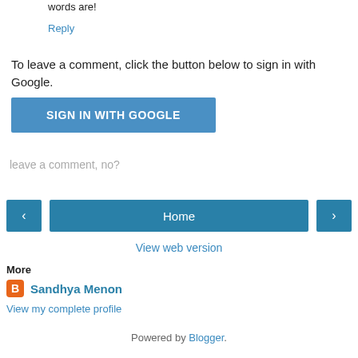words are!
Reply
To leave a comment, click the button below to sign in with Google.
[Figure (other): Blue 'SIGN IN WITH GOOGLE' button]
leave a comment, no?
[Figure (other): Navigation bar with left arrow button, Home button, and right arrow button]
View web version
More
Sandhya Menon
View my complete profile
Powered by Blogger.